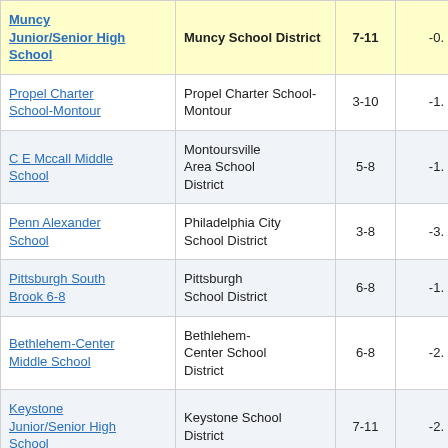| School | District | Grades | Score |
| --- | --- | --- | --- |
| Muncy Junior/Senior High School | Muncy School District | 7-11 | -0. |
| Propel Charter School-Montour | Propel Charter School-Montour | 3-10 | -1. |
| C E Mccall Middle School | Montoursville Area School District | 5-8 | -1. |
| Penn Alexander School | Philadelphia City School District | 3-8 | -3. |
| Pittsburgh South Brook 6-8 | Pittsburgh School District | 6-8 | -1. |
| Bethlehem-Center Middle School | Bethlehem-Center School District | 6-8 | -2. |
| Keystone Junior/Senior High School | Keystone School District | 7-11 | -2. |